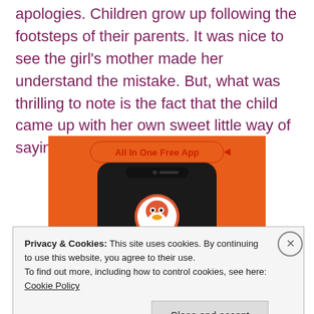apologies. Children grow up following the footsteps of their parents. It was nice to see the girl's mother made her understand the mistake. But, what was thrilling to note is the fact that the child came up with her own sweet little way of saying sorry! 🙂
[Figure (screenshot): Partial screenshot of a DuckDuckGo 'All In One Free App' advertisement showing a mobile phone with the DuckDuckGo duck logo on an orange background]
Privacy & Cookies: This site uses cookies. By continuing to use this website, you agree to their use.
To find out more, including how to control cookies, see here: Cookie Policy
Close and accept